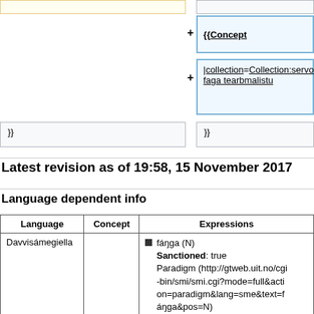{{Concept
|collection=Collection:servodatfaga tearbmalistu
}}
}}
Latest revision as of 19:58, 15 November 2017
Language dependent info
| Language | Concept | Expressions |
| --- | --- | --- |
| Davvisámegiella |  | fáŋga (N)
Sanctioned: true
Paradigm (http://gtweb.uit.no/cgi-bin/smi/smi.cgi?mode=full&action=paradigm&lang=sme&text=fáŋga&pos=N) |